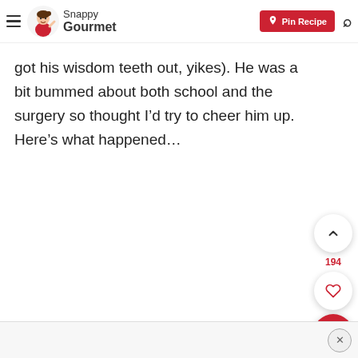Snappy Gourmet — Pin Recipe
got his wisdom teeth out, yikes). He was a bit bummed about both school and the surgery so thought I’d try to cheer him up. Here’s what happened…
×